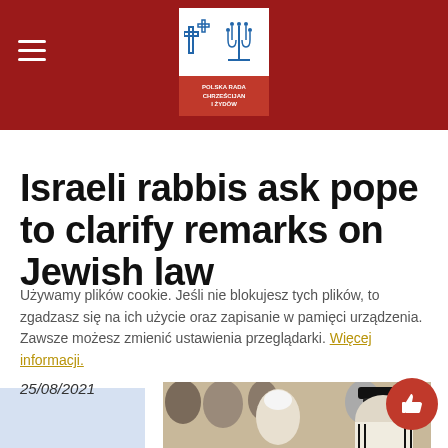Polska Rada Chrześcijan i Żydów — navigation header with logo
Israeli rabbis ask pope to clarify remarks on Jewish law
25/08/2021
Używamy plików cookie. Jeśli nie blokujesz tych plików, to zgadzasz się na ich użycie oraz zapisanie w pamięci urządzenia. Zawsze możesz zmienić ustawienia przeglądarki. Więcej informacji.
[Figure (photo): Photo of pope in white papal cap in conversation with a rabbi wearing a black hat and striped tallit shawl, with other clergy visible in background]